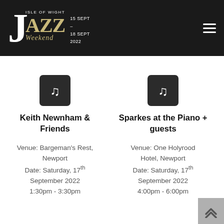Isle of Wight Jazz Weekend | 15 Sept - 18 Sept 2022
[Figure (illustration): Music note icon for Keith Newnham & Friends]
Keith Newnham & Friends
Venue: Bargeman's Rest, Newport
Date: Saturday, 17th September 2022
1:30pm - 3:30pm
[Figure (illustration): Music note icon for Sparkes at the Piano + guests]
Sparkes at the Piano + guests
Venue: One Holyrood Hotel, Newport
Date: Saturday, 17th September 2022
4:00pm - 6:00pm